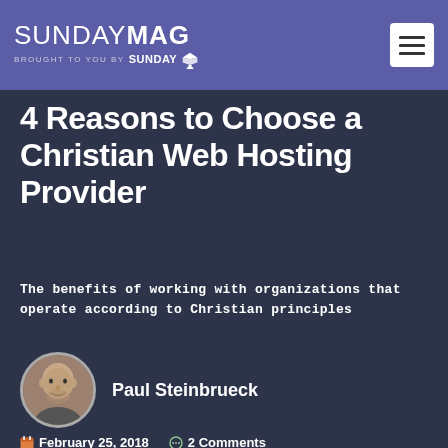SUNDAYMAG — Brought to you by SUNDAY U
4 Reasons to Choose a Christian Web Hosting Provider
The benefits of working with organizations that operate according to Christian principles
Paul Steinbrueck
February 25, 2019   2 Comments